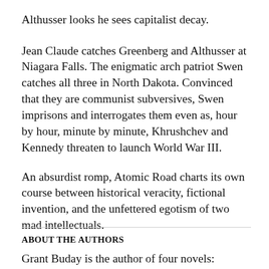Althusser looks he sees capitalist decay.
Jean Claude catches Greenberg and Althusser at Niagara Falls. The enigmatic arch patriot Swen catches all three in North Dakota. Convinced that they are communist subversives, Swen imprisons and interrogates them even as, hour by hour, minute by minute, Khrushchev and Kennedy threaten to launch World War III.
An absurdist romp, Atomic Road charts its own course between historical veracity, fictional invention, and the unfettered egotism of two mad intellectuals.
ABOUT THE AUTHORS
Grant Buday is the author of four novels: Rootbound, White Lung (April Ruse), Under Glass, The Venetian...